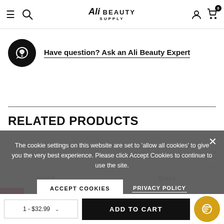Ali Beauty Supply - navigation header with hamburger menu, search, logo, account, and cart (0 items)
Have question? Ask an Ali Beauty Expert
RELATED PRODUCTS
The cookie settings on this website are set to 'allow all cookies' to give you the very best experience. Please click Accept Cookies to continue to use the site.
ACCEPT COOKIES
PRIVACY POLICY
QUICK
QUICK
1 - $32.99
ADD TO CART